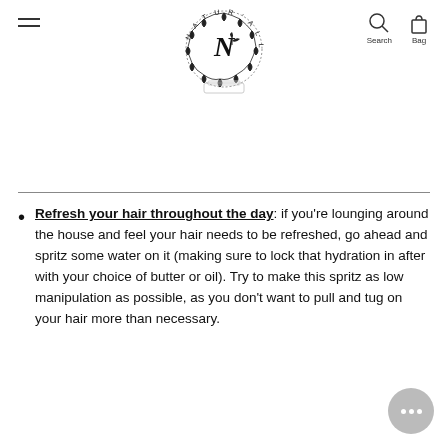NATUR'ALL — Navigation header with logo, search and bag icons
[Figure (logo): NATUR'ALL brand logo: circular wreath of botanical leaves with a stylized N in the center and a small plant/leaf motif, text reading NATUR'ALL around the circle. Below is a product jar/container.]
Refresh your hair throughout the day: if you're lounging around the house and feel your hair needs to be refreshed, go ahead and spritz some water on it (making sure to lock that hydration in after with your choice of butter or oil). Try to make this spritz as low manipulation as possible, as you don't want to pull and tug on your hair more than necessary.